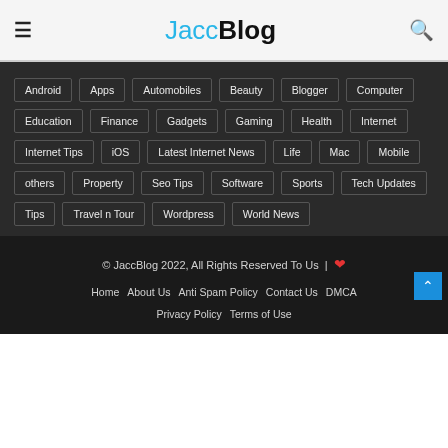JaccBlog
Android
Apps
Automobiles
Beauty
Blogger
Computer
Education
Finance
Gadgets
Gaming
Health
Internet
Internet Tips
iOS
Latest Internet News
Life
Mac
Mobile
others
Property
Seo Tips
Software
Sports
Tech Updates
Tips
Travel n Tour
Wordpress
World News
© JaccBlog 2022, All Rights Reserved To Us | ❤ Home About Us Anti Spam Policy Contact Us DMCA Privacy Policy Terms of Use